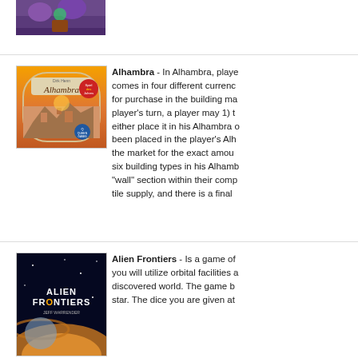[Figure (photo): Partial top of a board game box image showing fantasy/potion themed artwork, cropped at top]
[Figure (photo): Alhambra board game box cover featuring orange/yellow background with the Alhambra palace, 'Dirk Henn' credit, Queen Games logo, and Spiel des Jahres award badge]
Alhambra - In Alhambra, players money comes in four different currencies and is for purchase in the building market. On a player's turn, a player may 1) t... either place it in his Alhambra o... been placed in the player's Alh... the market for the exact amou... six building types in his Alhamb... "wall" section within their comp... tile supply, and there is a final ...
[Figure (photo): Alien Frontiers board game box cover featuring space/planet imagery with the title 'ALIEN FRONTIERS' in large letters]
Alien Frontiers - Is a game of... you will utilize orbital facilities a... discovered world. The game b... star. The dice you are given at...